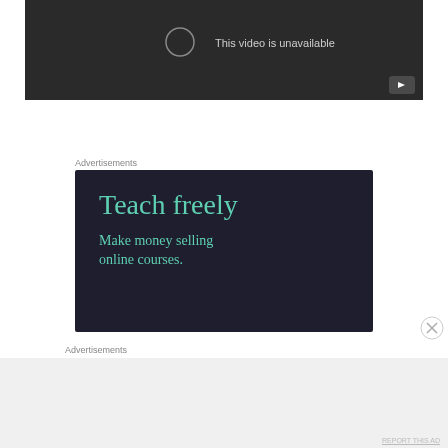[Figure (screenshot): Dark video player area showing 'This video is unavailable' message with YouTube play button icon in bottom right corner]
Advertisements
[Figure (screenshot): Dark navy advertisement banner with teal text reading 'Teach freely' as heading and 'Make money selling online courses.' as subtext]
Advertisements